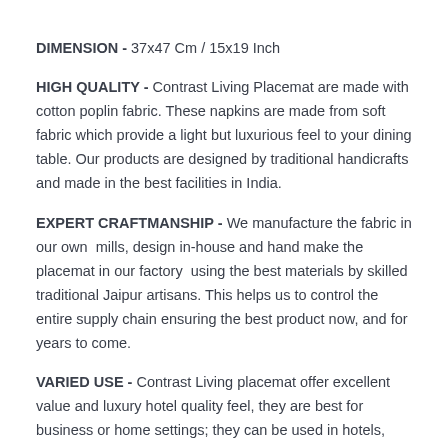DIMENSION  -  37x47 Cm / 15x19 Inch
HIGH QUALITY -  Contrast Living Placemat are made with cotton poplin fabric. These napkins are made from soft fabric which provide a light but luxurious feel to your dining table. Our products are designed by traditional handicrafts and made in the best facilities in India.
EXPERT CRAFTMANSHIP -  We manufacture the fabric in our own  mills, design in-house and hand make the placemat in our factory  using the best materials by skilled traditional Jaipur artisans. This helps us to control the entire supply chain ensuring the best product now, and for years to come.
VARIED USE -  Contrast Living placemat offer excellent value and luxury hotel quality feel, they are best for business or home settings; they can be used in hotels, wedding, restaurant, banquet halls, cocktail and ideal for any party table settings. These cloth